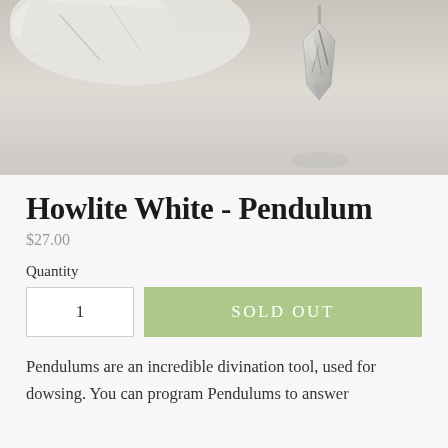[Figure (photo): Product photo of a Howlite White Pendulum — a pointed silver/metallic crystal pendant on a light gray background with a rough white crystal visible at top left.]
Howlite White - Pendulum
$27.00
Quantity
1
SOLD OUT
Pendulums are an incredible divination tool, used for dowsing. You can program Pendulums to answer